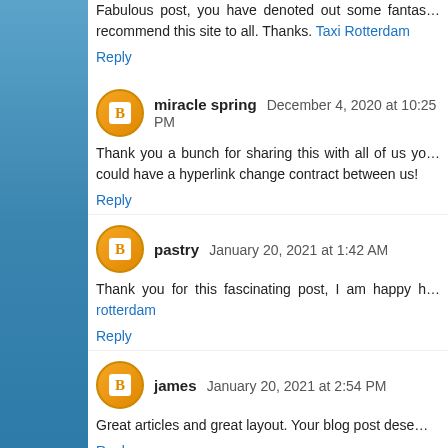Fabulous post, you have denoted out some fantastic points, I likewise think this is a very superb site. I will recommend this site to all. Thanks. Taxi Rotterdam
Reply
miracle spring  December 4, 2020 at 10:25 PM
Thank you a bunch for sharing this with all of us you really understand what you are talking about! Bookmarked. Kindly additionally seek advice from my website =). We could have a hyperlink change contract between us!
Reply
pastry  January 20, 2021 at 1:42 AM
Thank you for this fascinating post, I am happy I observed this website on Google. rotterdam
Reply
james  January 20, 2021 at 2:54 PM
Great articles and great layout. Your blog post deserves all of the positive feedback it's been getting.
Reply